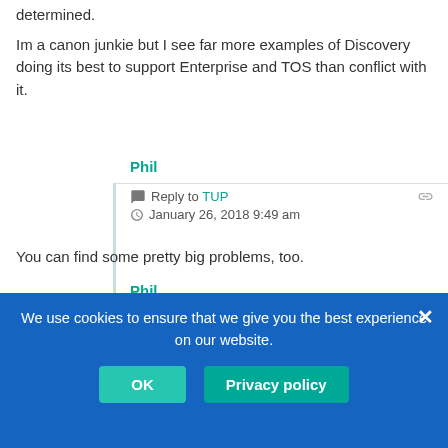determined.
Im a canon junkie but I see far more examples of Discovery doing its best to support Enterprise and TOS than conflict with it.
Phil
Reply to TUP
January 26, 2018 9:49 am
You can find some pretty big problems, too.
Phil
Reply to Phil
January 26, 2018 9:50 am
@ TUP...you can find some pretty big problems, too...
Phil
Reply to Isabella1990
January 25, 2018 2:04 pm
It's not misleading. ...are super obsessed with canon. K... th... worked up when Trek V h... bl... ...ocks half
We use cookies to ensure that we give you the best experience on our website.
OK
Privacy policy